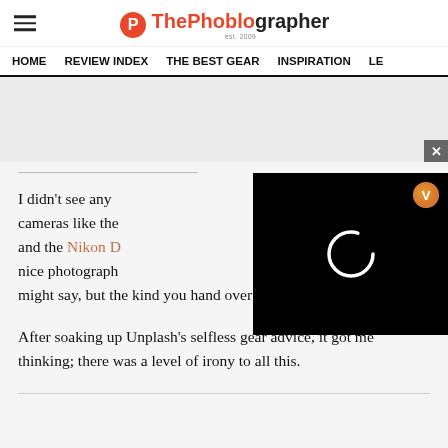ThePhoblographer est. 2009
HOME | REVIEW INDEX | THE BEST GEAR | INSPIRATION | LE...
[Figure (other): Gray advertisement placeholder banner with a close (X) button in the bottom-right corner]
[Figure (other): Black video player overlay with a loading spinner (partial white circle) and a Honey/V badge icon in the top-right corner]
I didn't see any cameras like the and the Nikon D nice photograph might say, but the kind you hand over for free.
After soaking up Unplash's selfless gear advice, it got me thinking; there was a level of irony to all this.